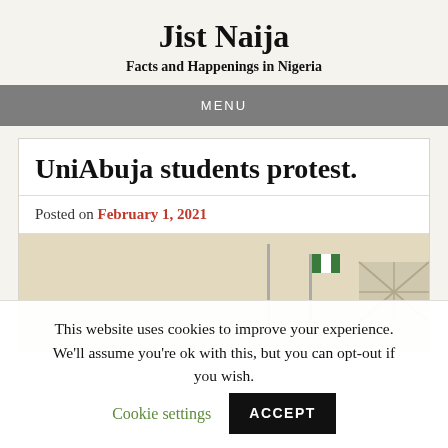Jist Naija
Facts and Happenings in Nigeria
MENU
UniAbuja students protest.
Posted on February 1, 2021
[Figure (photo): Outdoor photo showing flagpoles with Nigerian flag and a building structure in the background against a pale sky]
This website uses cookies to improve your experience. We'll assume you're ok with this, but you can opt-out if you wish. Cookie settings ACCEPT